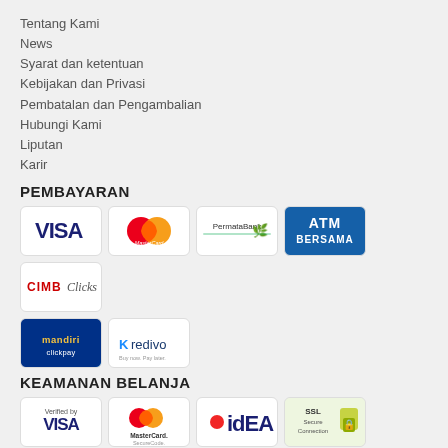Tentang Kami
News
Syarat dan ketentuan
Kebijakan dan Privasi
Pembatalan dan Pengambalian
Hubungi Kami
Liputan
Karir
PEMBAYARAN
[Figure (logo): Payment method logos: VISA, MasterCard, PermataBank, ATM Bersama, CIMB Clicks, Mandiri Clickpay, Kredivo]
KEAMANAN BELANJA
[Figure (logo): Security logos: Verified by VISA, MasterCard SecureCode, idEA, SSL Secure Connection]
Copyright 2017 LabSatu.com - All right Reserved